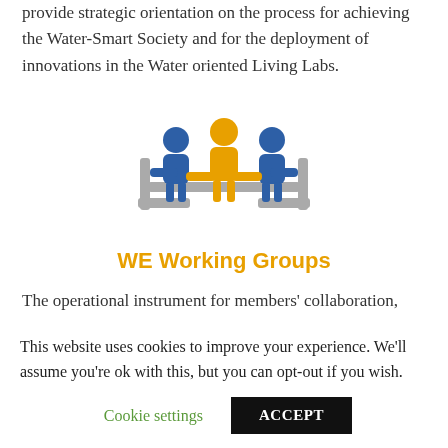provide strategic orientation on the process for achieving the Water-Smart Society and for the deployment of innovations in the Water oriented Living Labs.
[Figure (illustration): Three people sitting around a table in a meeting: two blue figures on the sides and one orange figure in the center, with grey chairs visible.]
WE Working Groups
The operational instrument for members' collaboration, producing technical and scientific inputs on a series of themes. WE facilitates their operation through a range of
This website uses cookies to improve your experience. We'll assume you're ok with this, but you can opt-out if you wish.